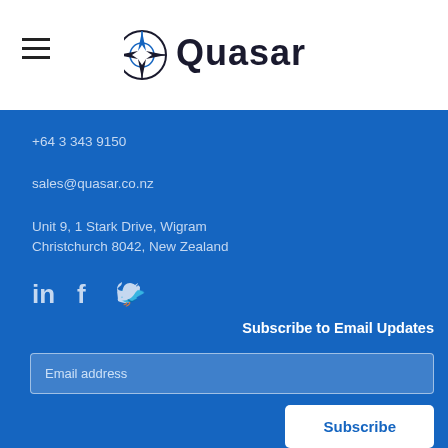[Figure (logo): Quasar company logo with compass/star icon and bold text]
+64 3 343 9150
sales@quasar.co.nz
Unit 9, 1 Stark Drive, Wigram
Christchurch 8042, New Zealand
[Figure (illustration): Social media icons: LinkedIn, Facebook, Twitter]
Subscribe to Email Updates
Email address
Subscribe